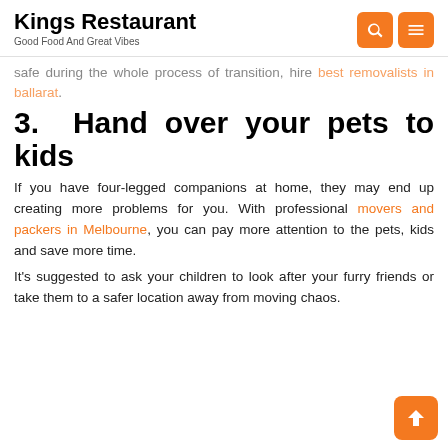Kings Restaurant
Good Food And Great Vibes
safe during the whole process of transition, hire best removalists in ballarat.
3.  Hand over your pets to kids
If you have four-legged companions at home, they may end up creating more problems for you. With professional movers and packers in Melbourne, you can pay more attention to the pets, kids and save more time.
It's suggested to ask your children to look after your furry friends or take them to a safer location away from moving chaos.